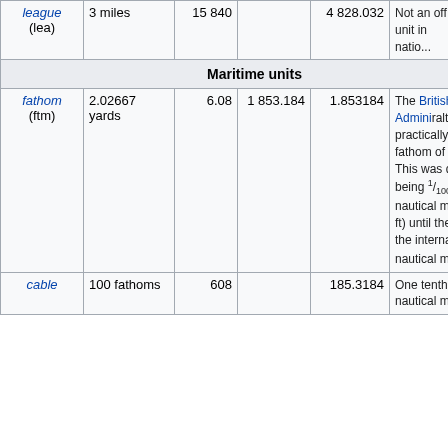| Unit | Equivalent | Feet | Chains | Metres | Notes |
| --- | --- | --- | --- | --- | --- |
| league (lea) | 3 miles | 15 840 |  | 4 828.032 | Not an official unit in many nations |
| Maritime units |  |  |  |  |  |
| fathom (ftm) | 2.02667 yards | 6.08 | 1 853.184 | 1.853184 | The British Admiralty practically used a fathom of 6.08 feet. This was due to its being 1/1000 of a nautical mile (6.08 ft) until the adoption of the international nautical mile. |
| cable | 100 fathoms | 608 |  | 185.3184 | One tenth of a nautical mile. |